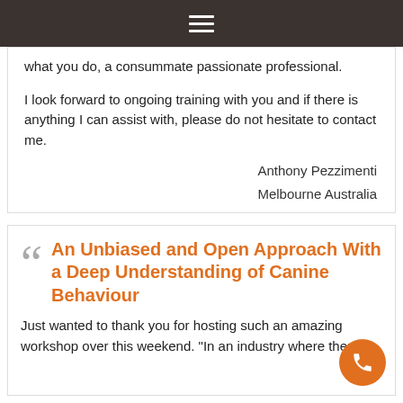≡
what you do, a consummate passionate professional.
I look forward to ongoing training with you and if there is anything I can assist with, please do not hesitate to contact me.
Anthony Pezzimenti
Melbourne Australia
An Unbiased and Open Approach With a Deep Understanding of Canine Behaviour
Just wanted to thank you for hosting such an amazing workshop over this weekend. "In an industry where there